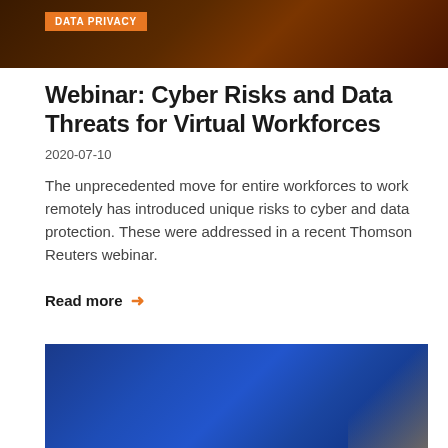[Figure (photo): Dark brown/amber toned header banner image with DATA PRIVACY orange badge label]
Webinar: Cyber Risks and Data Threats for Virtual Workforces
2020-07-10
The unprecedented move for entire workforces to work remotely has introduced unique risks to cyber and data protection. These were addressed in a recent Thomson Reuters webinar.
Read more →
[Figure (photo): Blue gradient background image, partial view, with golden/amber accent in bottom right corner]